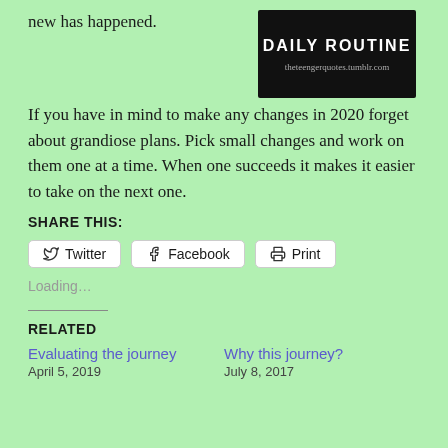new has happened.
[Figure (illustration): Black background image with white bold uppercase text reading 'DAILY ROUTINE' and small text 'theteengerquotes.tumblr.com' below]
If you have in mind to make any changes in 2020 forget about grandiose plans. Pick small changes and work on them one at a time. When one succeeds it makes it easier to take on the next one.
SHARE THIS:
Twitter  Facebook  Print
Loading...
RELATED
Evaluating the journey
April 5, 2019
Why this journey?
July 8, 2017